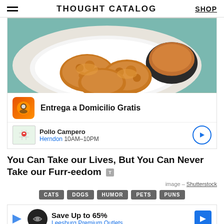THOUGHT CATALOG  SHOP
[Figure (photo): Photo of fried chicken pieces on a white plate with a dark bowl of dipping sauce, advertisement for Pollo Campero Entrega a Domicilio Gratis, Herndon 10AM-10PM]
You Can Take our Lives, But You Can Never Take our Furr-eedom
image – Shutterstock
CATS
DOGS
HUMOR
PETS
PUNS
[Figure (other): Advertisement: Save Up to 65% Leesburg Premium Outlets]
MORE F